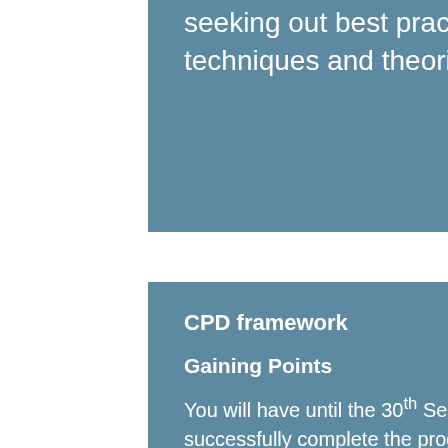seeking out best practice; acquiring new tools, techniques and theories; and sharing knowledge.
CPD framework
Gaining Points
You will have until the 30th September each year to achieve 160 points to successfully complete the programme. Points can NOT be carried over to following years, which begin 01/10.
A maximum of 40 points each can logged on the following activities:
Events